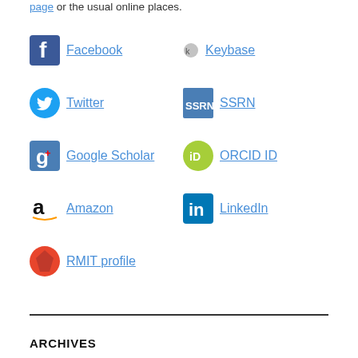page or the usual online places.
Facebook
Keybase
Twitter
SSRN
Google Scholar
ORCID ID
Amazon
LinkedIn
RMIT profile
ARCHIVES